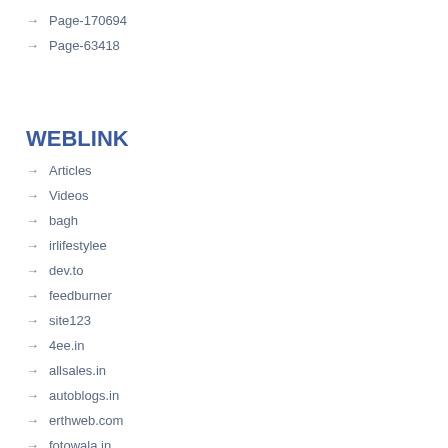Page-170694
Page-63418
WEBLINK
Articles
Videos
bagh
irlifestylee
dev.to
feedburner
site123
4ee.in
allsales.in
autoblogs.in
erthweb.com
fotowala.in
gehani.in